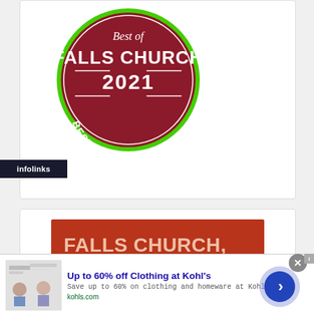[Figure (logo): Best of Falls Church 2021 badge - circular logo with green border, dark red background, white text reading FALLS CHURCH 2021 BESTOFFC.COM]
[Figure (illustration): Red banner advertisement reading 'FALLS CHURCH, WE NEED YOUR HELP.' in large bold text with italic subtitle 'The pandemic has devastated']
[Figure (other): Infolinks label bar in bottom-left corner]
[Figure (screenshot): Ad overlay: Up to 60% off Clothing at Kohl's - Save up to 60% on clothing and homeware at Kohl's.com - kohls.com, with close button and arrow navigation]